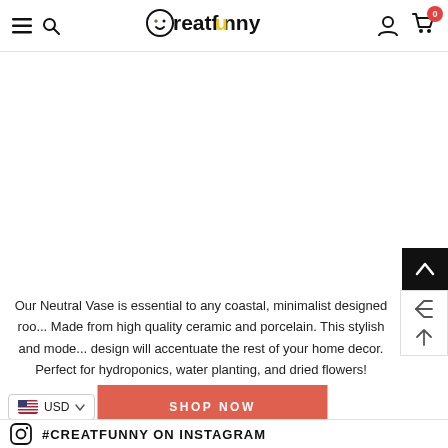Creatfunny — navigation header with hamburger menu, search, user icon, and cart (0)
Our Neutral Vase is essential to any coastal, minimalist designed roo... Made from high quality ceramic and porcelain. This stylish and mode... design will accentuate the rest of your home decor. Perfect for hydroponics, water planting, and dried flowers!
SHOP NOW
USD
#CREATFUNNY ON INSTAGRAM